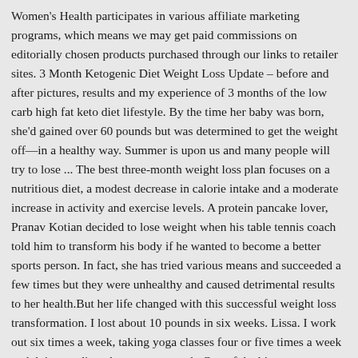Women's Health participates in various affiliate marketing programs, which means we may get paid commissions on editorially chosen products purchased through our links to retailer sites. 3 Month Ketogenic Diet Weight Loss Update – before and after pictures, results and my experience of 3 months of the low carb high fat keto diet lifestyle. By the time her baby was born, she'd gained over 60 pounds but was determined to get the weight off—in a healthy way. Summer is upon us and many people will try to lose ... The best three-month weight loss plan focuses on a nutritious diet, a modest decrease in calorie intake and a moderate increase in activity and exercise levels. A protein pancake lover, Pranav Kotian decided to lose weight when his table tennis coach told him to transform his body if he wanted to become a better sports person. In fact, she has tried various means and succeeded a few times but they were unhealthy and caused detrimental results to her health.But her life changed with this successful weight loss transformation. I lost about 10 pounds in six weeks. Lissa. I work out six times a week, taking yoga classes four or five times a week and doing cardio at least once a week. One of the biggest revelations I had during this process is that my body actually wants to move. Though I'd never done yoga before, I learned to modify the moves and speak up about my limitations. As per a recent study published